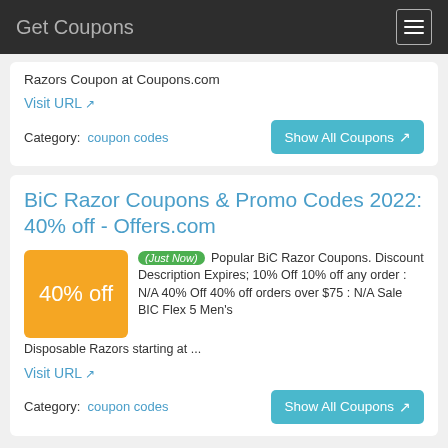Get Coupons
Razors Coupon at Coupons.com
Visit URL
Category: coupon codes
Show All Coupons
BiC Razor Coupons & Promo Codes 2022: 40% off - Offers.com
(Just Now) Popular BiC Razor Coupons. Discount Description Expires; 10% Off 10% off any order : N/A 40% Off 40% off orders over $75 : N/A Sale BIC Flex 5 Men's Disposable Razors starting at ...
40% off
Visit URL
Category: coupon codes
Show All Coupons